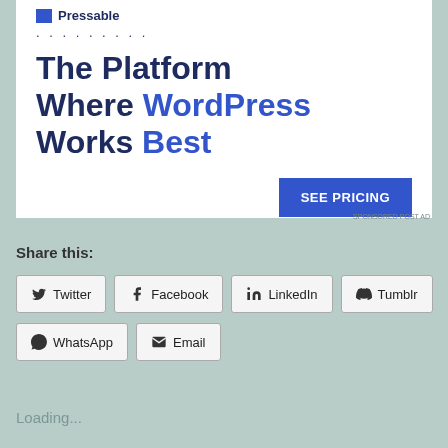[Figure (screenshot): Advertisement banner for Pressable WordPress hosting showing title 'The Platform Where WordPress Works Best' with a blue 'SEE PRICING' button]
Share this:
Twitter
Facebook
LinkedIn
Tumblr
WhatsApp
Email
Loading...